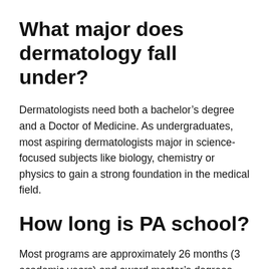What major does dermatology fall under?
Dermatologists need both a bachelor’s degree and a Doctor of Medicine. As undergraduates, most aspiring dermatologists major in science-focused subjects like biology, chemistry or physics to gain a strong foundation in the medical field.
How long is PA school?
Most programs are approximately 26 months (3 academic years) and award master’s degrees. They include classroom instruction and clinical rotations. As a PA student, you’ll receive classroom instruction in: Anatomy